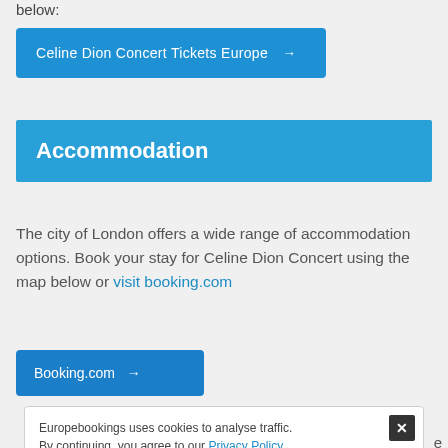below:
Celine Dion Concert Tickets Europe →
Accommodation
The city of London offers a wide range of accommodation options. Book your stay for Celine Dion Concert using the map below or visit booking.com
Booking.com →
Europebookings uses cookies to analyse traffic. By continuing, you agree to our Privacy Policy